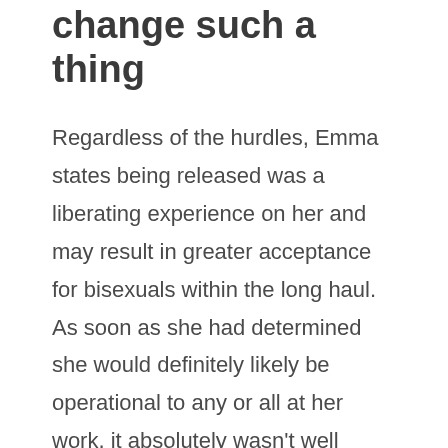change such a thing
Regardless of the hurdles, Emma states being released was a liberating experience on her and may result in greater acceptance for bisexuals within the long haul. As soon as she had determined she would definitely likely be operational to any or all at her work, it absolutely wasn't well before the company's movers and shakers had been confessing their ignorance of the bisexual worker's requirements and asking her for help make things better.
“Where I work on the minute, i’m creating training packages which we are able to share with community teams all over the world, teaching tips on how to make areas more accepting for bisexual peers,” she claims